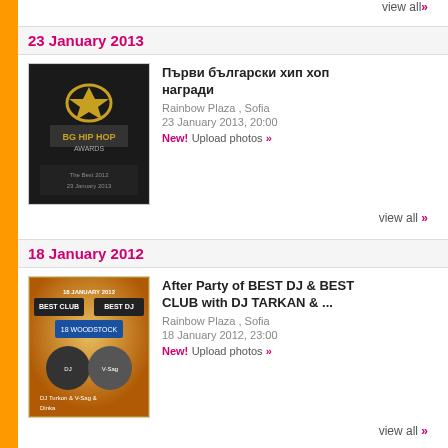view all »
23 January 2013
[Figure (photo): Hip hop awards event poster - dark background with crown and BG Hip Hop awards logo]
Първи български хип хоп награди
Rainbow Plaza , Sofia
23 January 2013, 20:00
New! Upload photos »
view all »
18 January 2012
[Figure (photo): After Party event poster - DJ Tarkan and V-Sag and Dinka, colorful lights background]
After Party of BEST DJ & BEST CLUB with DJ TARKAN & ...
Rainbow Plaza , Sofia
18 January 2012, 23:00
New! Upload photos »
view all »
2 May 2011